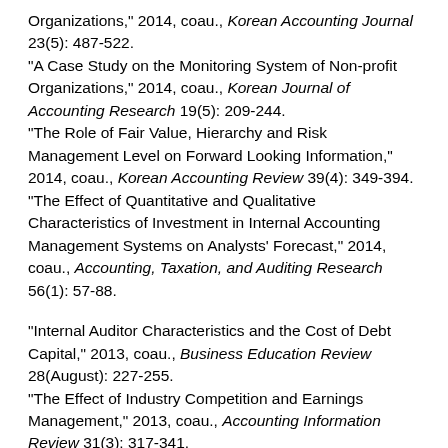Organizations," 2014, coau., Korean Accounting Journal 23(5): 487-522.
"A Case Study on the Monitoring System of Non-profit Organizations," 2014, coau., Korean Journal of Accounting Research 19(5): 209-244.
"The Role of Fair Value, Hierarchy and Risk Management Level on Forward Looking Information," 2014, coau., Korean Accounting Review 39(4): 349-394.
"The Effect of Quantitative and Qualitative Characteristics of Investment in Internal Accounting Management Systems on Analysts' Forecast," 2014, coau., Accounting, Taxation, and Auditing Research 56(1): 57-88.
"Internal Auditor Characteristics and the Cost of Debt Capital," 2013, coau., Business Education Review 28(August): 227-255.
"The Effect of Industry Competition and Earnings Management," 2013, coau., Accounting Information Review 31(3): 317-341.
"The Impact of Financial Reporting Comparability on Analyst Forecasts and Value Relevance," 2013, coau., Korean Accounting Review 38(2): 281-320.